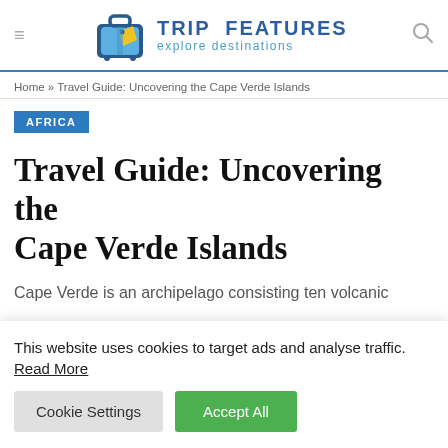TRIP FEATURES explore destinations
Home » Travel Guide: Uncovering the Cape Verde Islands
AFRICA
Travel Guide: Uncovering the Cape Verde Islands
Cape Verde is an archipelago consisting ten volcanic
This website uses cookies to target ads and analyse traffic. Read More
Cookie Settings   Accept All